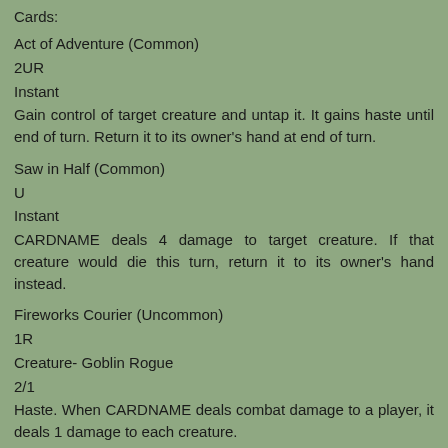Cards:
Act of Adventure (Common)
2UR
Instant
Gain control of target creature and untap it. It gains haste until end of turn. Return it to its owner's hand at end of turn.
Saw in Half (Common)
U
Instant
CARDNAME deals 4 damage to target creature. If that creature would die this turn, return it to its owner's hand instead.
Fireworks Courier (Uncommon)
1R
Creature- Goblin Rogue
2/1
Haste. When CARDNAME deals combat damage to a player, it deals 1 damage to each creature.
Sniggering Faerie (Uncommon)